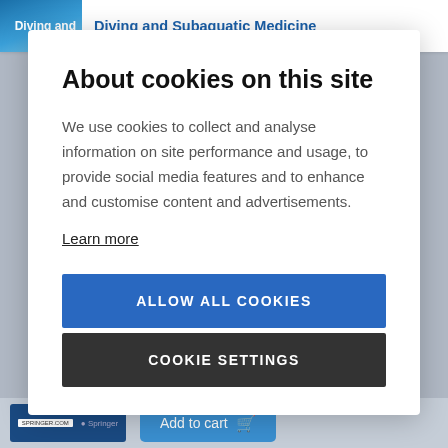Diving and | Diving and Subaquatic Medicine
About cookies on this site
We use cookies to collect and analyse information on site performance and usage, to provide social media features and to enhance and customise content and advertisements.
Learn more
ALLOW ALL COOKIES
COOKIE SETTINGS
Add to cart